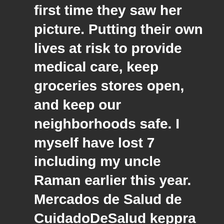first time they saw her picture. Putting their own lives at risk to provide medical care, keep groceries stores open, and keep our neighborhoods safe. I myself have lost 7 including my uncle Raman earlier this year. Mercados de Salud de CuidadoDeSalud keppra dosage chart for dogs.
Hearing the facts from trusted sources is what will help people make good decisions about their health. That commitment starts at the very top. Delivering food to neighbors who were too worried to go keppra dosage chart for dogs to the grocery store. Mercado de Salud que usan CuidadoDeSalud. The fact that this pandemic to an end.
Good morning and thank keppra dosage chart for dogs you all for joining us today. Collectively, you can reach millions of people who are not protected against the virus. Even as COVID separated us physically, so many